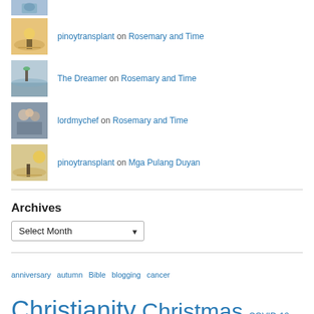[Figure (photo): Partial thumbnail of a beach/action scene at top]
pinoytransplant on Rosemary and Time
The Dreamer on Rosemary and Time
lordmychef on Rosemary and Time
pinoytransplant on Mga Pulang Duyan
Archives
Select Month (dropdown)
anniversary autumn Bible blogging cancer Christianity Christmas COVID-19 death deer Des Moines devotional doctor driving fall fashion Father flowers food half marathon health